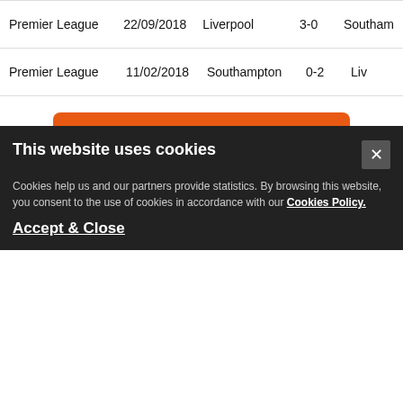| Competition | Date | Home | Score | Away |
| --- | --- | --- | --- | --- |
| Premier League | 22/09/2018 | Liverpool | 3-0 | Southam... |
| Premier League | 11/02/2018 | Southampton | 0-2 | Liv... |
FOOTBALL TIPS
[Figure (photo): Southampton vs Liverpool banner advertisement on blue background with team logos]
This website uses cookies
Cookies help us and our partners provide statistics. By browsing this website, you consent to the use of cookies in accordance with our Cookies Policy.
Accept & Close